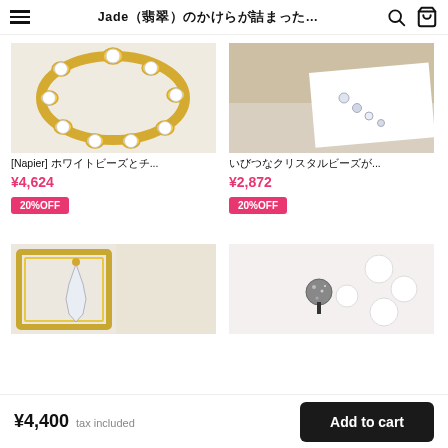Jade（翡翠）のかけらが詰まった...
[Figure (photo): Gold chain bracelet with white beaded links on white background]
[Napier] ホワイトビーズとチ...
¥4,624
20%OFF
[Figure (photo): Crystal bead necklace with clear beads on fabric background]
いびつなクリスタルビーズが...
¥2,872
20%OFF
[Figure (photo): Clear crystal earrings with gold hardware in a gold frame]
[Figure (photo): Gray and white glitter ball earrings on white fabric]
¥4,400  tax included
Add to cart